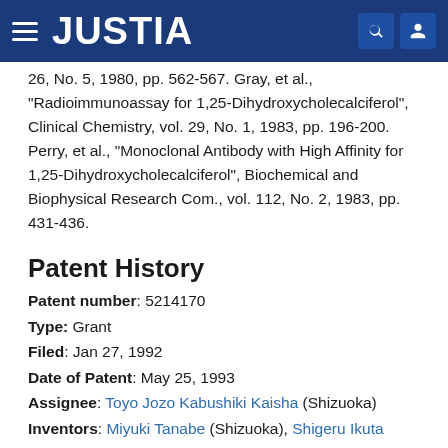JUSTIA
26, No. 5, 1980, pp. 562-567. Gray, et al., "Radioimmunoassay for 1,25-Dihydroxycholecalciferol", Clinical Chemistry, vol. 29, No. 1, 1983, pp. 196-200. Perry, et al., "Monoclonal Antibody with High Affinity for 1,25-Dihydroxycholecalciferol", Biochemical and Biophysical Research Com., vol. 112, No. 2, 1983, pp. 431-436.
Patent History
Patent number: 5214170
Type: Grant
Filed: Jan 27, 1992
Date of Patent: May 25, 1993
Assignee: Toyo Jozo Kabushiki Kaisha (Shizuoka)
Inventors: Miyuki Tanabe (Shizuoka), Shigeru Ikuta (Shizuoka)